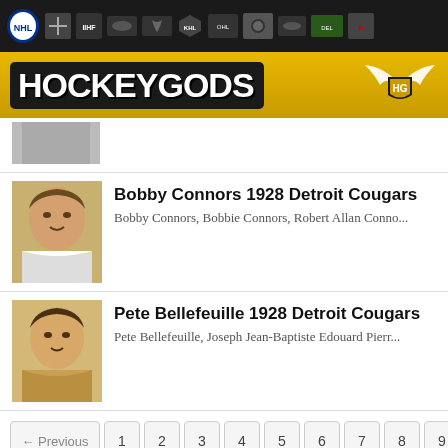HockeyGods navigation bar with league logos
[Figure (logo): HockeyGods banner logo with golden background and winged HG shield emblem]
[Figure (photo): Partial photo of a hockey player, cut off at top]
Bobby Connors 1928 Detroit Cougars
Bobby Connors, Bobbie Connors, Robert Allan Conno...
Pete Bellefeuille 1928 Detroit Cougars
Pete Bellefeuille, Joseph Jean-Baptiste Edouard Pierr...
← Previous  1  2  3  4  5  6  7  8  9
Copyright © 2022 HockeyGods.com